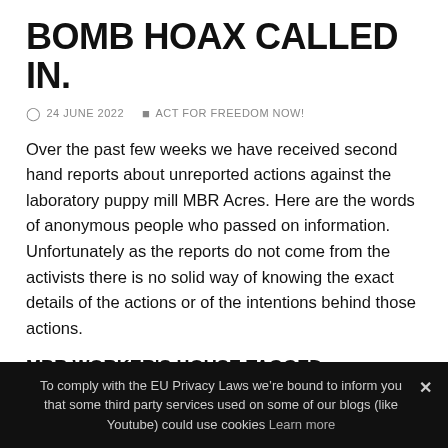BOMB HOAX CALLED IN.
24 JUNE 2022   ACT FOR FREEDOM NOW!
Over the past few weeks we have received second hand reports about unreported actions against the laboratory puppy mill MBR Acres. Here are the words of anonymous people who passed on information. Unfortunately as the reports do not come from the activists there is no solid way of knowing the exact details of the actions or of the intentions behind those actions.
MBR WORKER'S HOUSE TAGGED
“I have heard that one of the MBR workers’ house got spray painted. Surely he is not very happy with the company who
To comply with the EU Privacy Laws we’re bound to inform you that some third party services used on some of our blogs (like Youtube) could use cookies Learn more